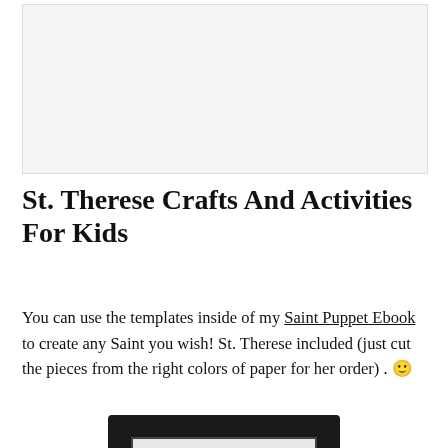[Figure (other): Advertisement or banner placeholder with light gray background]
St. Therese Crafts And Activities For Kids
You can use the templates inside of my Saint Puppet Ebook to create any Saint you wish! St. Therese included (just cut the pieces from the right colors of paper for her order) . 🙂
[Figure (photo): Bottom portion of a craft photo showing a dark/black puppet or craft item with a white rectangular element visible]